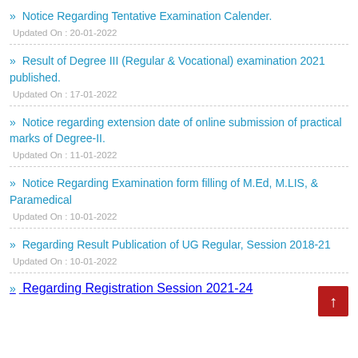» Notice Regarding Tentative Examination Calender.
Updated On : 20-01-2022
» Result of Degree III (Regular & Vocational) examination 2021 published.
Updated On : 17-01-2022
» Notice regarding extension date of online submission of practical marks of Degree-II.
Updated On : 11-01-2022
» Notice Regarding Examination form filling of M.Ed, M.LIS, & Paramedical
Updated On : 10-01-2022
» Regarding Result Publication of UG Regular, Session 2018-21
Updated On : 10-01-2022
» Regarding Registration Session 2021-24